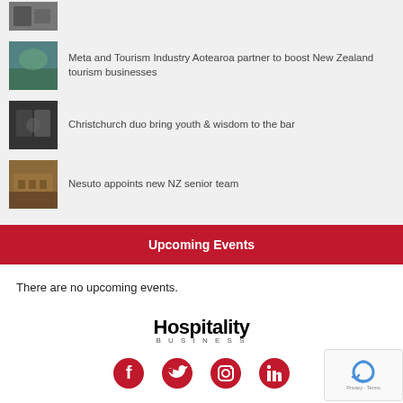[Figure (photo): Small thumbnail image at top, partially cut off]
Meta and Tourism Industry Aotearoa partner to boost New Zealand tourism businesses
Christchurch duo bring youth & wisdom to the bar
Nesuto appoints new NZ senior team
Upcoming Events
There are no upcoming events.
[Figure (logo): Hospitality Business logo]
[Figure (infographic): Social media icons: Facebook, Twitter, Instagram, LinkedIn in red]